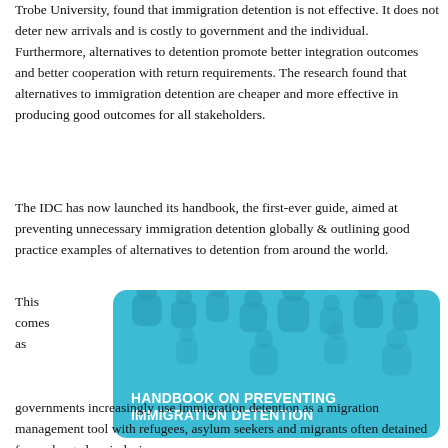Trobe University, found that immigration detention is not effective. It does not deter new arrivals and is costly to government and the individual. Furthermore, alternatives to detention promote better integration outcomes and better cooperation with return requirements. The research found that alternatives to immigration detention are cheaper and more effective in producing good outcomes for all stakeholders.
The IDC has now launched its handbook, the first-ever guide, aimed at preventing unnecessary immigration detention globally & outlining good practice examples of alternatives to detention from around the world.
This comes as
[Figure (illustration): Teal/blue rounded rectangle card showing silhouette people icons as decorative circles in darker teal, with bold white uppercase text reading HANDBOOK ON PREVENTING IMMIGRATION DETENTION]
governments increasingly use immigration detention as a migration management tool with refugees, asylum seekers and migrants often detained for prolonged periods, in